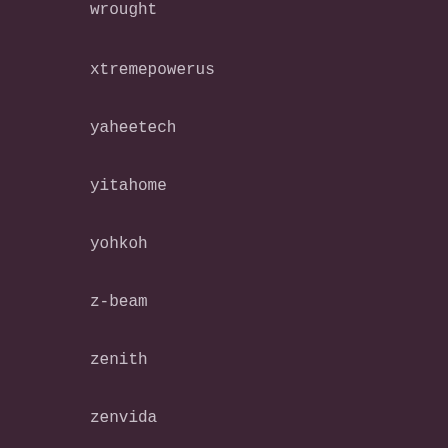wrought
xtremepowerus
yaheetech
yitahome
yohkoh
z-beam
zenith
zenvida
Timetable
August 2022
| M | T | W | T | F | S | S |
| --- | --- | --- | --- | --- | --- | --- |
| 1 | 2 | 3 | 4 | 5 | 6 | 7 |